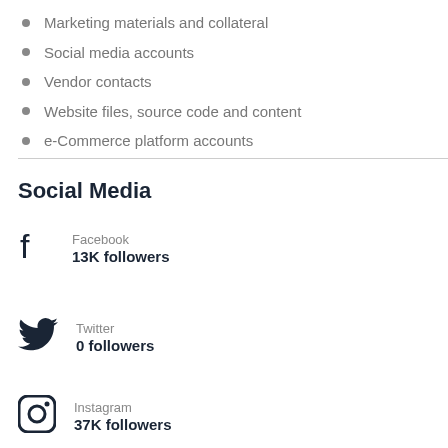Marketing materials and collateral
Social media accounts
Vendor contacts
Website files, source code and content
e-Commerce platform accounts
Social Media
Facebook
13K followers
Twitter
0 followers
Instagram
37K followers